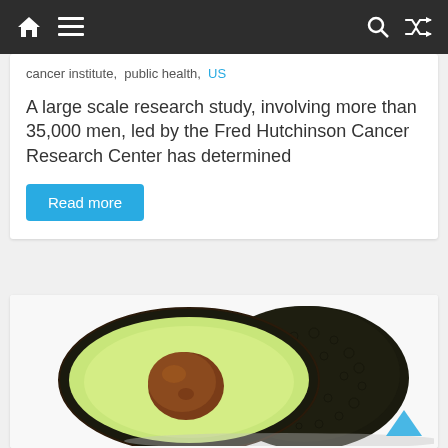Navigation bar with home, menu, search, and shuffle icons
cancer institute, public health, US
A large scale research study, involving more than 35,000 men, led by the Fred Hutchinson Cancer Research Center has determined
Read more
[Figure (photo): Two avocados, one halved showing the green flesh and brown seed, the other whole with dark bumpy skin, on a white background.]